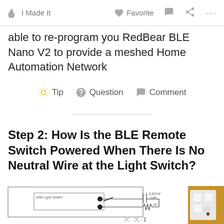I Made It   Favorite   Comment   Share   ...
able to re-program you RedBear BLE Nano V2 to provide a meshed Home Automation Network
Tip   Question   Comment
Step 2: How Is the BLE Remote Switch Powered When There Is No Neutral Wire at the Light Switch?
[Figure (schematic): Wiring schematic showing a Wall Light Switch box with two terminals connected to a 0.047uF CAP and 1K resistor, with AC mains symbol below]
[Figure (photo): Photo of a white plastic light switch module mounted on a corkboard]